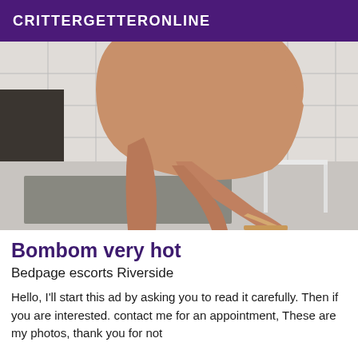CRITTERGETTERONLINE
[Figure (photo): A photograph showing a person's legs and lower body, wearing high heel shoes, standing in a tiled room with a gray mat on the floor and a white chair visible.]
Bombom very hot
Bedpage escorts Riverside
Hello, I'll start this ad by asking you to read it carefully. Then if you are interested. contact me for an appointment, These are my photos, thank you for not